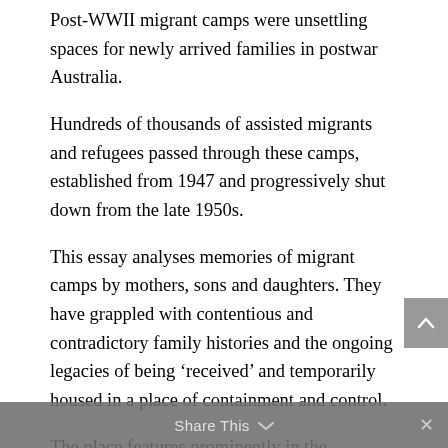Post-WWII migrant camps were unsettling spaces for newly arrived families in postwar Australia.
Hundreds of thousands of assisted migrants and refugees passed through these camps, established from 1947 and progressively shut down from the late 1950s.
This essay analyses memories of migrant camps by mothers, sons and daughters. They have grappled with contentious and contradictory family histories and the ongoing legacies of being ‘received’ and temporarily housed in a place of containment and control.
The place features prominently in the meaning-making practices of child migrants